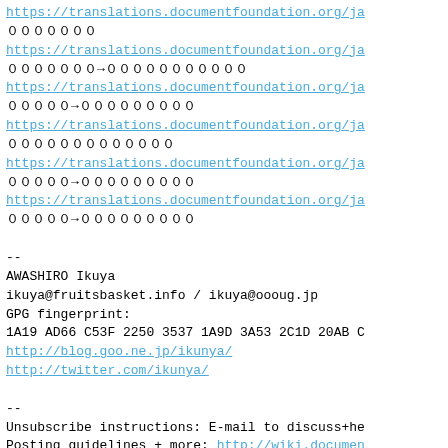https://translations.documentfoundation.org/ja
００００００００
https://translations.documentfoundation.org/ja
０００００００→０００００００００００
https://translations.documentfoundation.org/ja
０００００→０００００００００
https://translations.documentfoundation.org/ja
０００００００００００００
https://translations.documentfoundation.org/ja
０００００→０００００００００
https://translations.documentfoundation.org/ja
０００００→０００００００００
--
AWASHIRO Ikuya
ikuya@fruitsbasket.info / ikuya@oooug.jp
GPG fingerprint:
1A19 AD66 C53F 2250 3537 1A9D 3A53 2C1D 20AB C
http://blog.goo.ne.jp/ikunya/
http://twitter.com/ikunya/
--
Unsubscribe instructions: E-mail to discuss+he
Posting guidelines + more: http://wiki.documen
List archive: http://listarchives.libreoffice